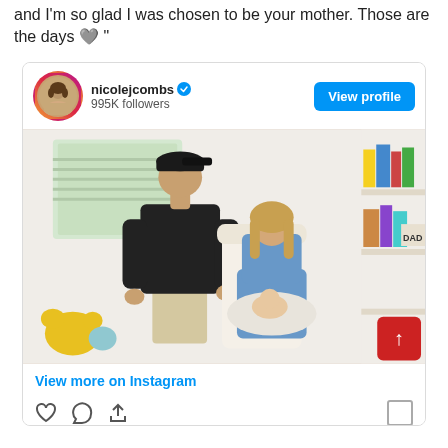and I'm so glad I was chosen to be your mother. Those are the days 🩶 "
[Figure (screenshot): Instagram post screenshot showing profile nicolejcombs with 995K followers, a View profile button, and a photo of a man in a black polo and cap leaning over a seated woman in a blue top holding a newborn baby, with a bookshelf visible on the right. Below the photo is a 'View more on Instagram' link and action icons.]